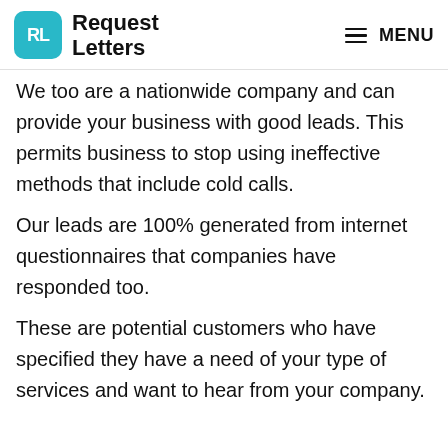Request Letters | MENU
We too are a nationwide company and can provide your business with good leads. This permits business to stop using ineffective methods that include cold calls.
Our leads are 100% generated from internet questionnaires that companies have responded too.
These are potential customers who have specified they have a need of your type of services and want to hear from your company.